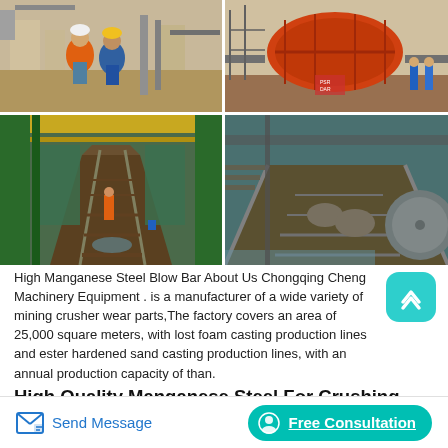[Figure (photo): Top-left: Two workers in orange and blue safety gear standing at a mining/industrial site with machinery in background]
[Figure (photo): Top-right: Large orange industrial ball mill or drum at a mining site with workers in blue helmets]
[Figure (photo): Bottom-left: Interior of industrial facility showing long conveyor or rail track with green structural elements and workers]
[Figure (photo): Bottom-right: Industrial processing equipment with water, tanks, and large circular drum/classifier machinery]
High Manganese Steel Blow Bar About Us Chongqing Cheng Machinery Equipment . is a manufacturer of a wide variety of mining crusher wear parts,The factory covers an area of 25,000 square meters, with lost foam casting production lines and ester hardened sand casting production lines, with an annual production capacity of than.
High Quality Manganese Steel For Crushing